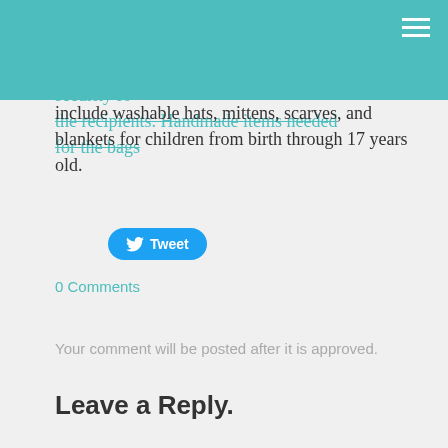accompanied by your name, the name of a knitting or crocheting, and toys, to create a sense of safety and security for the recipients. Handmade items needed for the bags
include washable hats, mittens, scarves, and blankets for children from birth through 17 years old.
[Figure (other): Tweet button with Twitter bird icon]
0 Comments
Your comment will be posted after it is approved.
Leave a Reply.
Name (required)